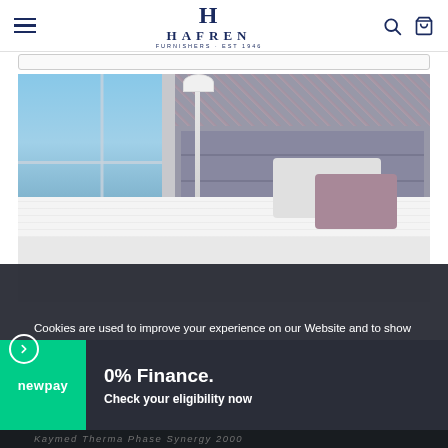HAFREN FURNISHERS
[Figure (photo): Bedroom product photo showing a bed with grey upholstered headboard featuring a floral fabric panel at top, white pillows and mauve/pink accent pillows, white mattress, floor lamp, and large window with scenic view.]
Cookies are used to improve your experience on our Website and to show you personalised content. You can opt out of non-essential Cookies by clicking here.
0% Finance. Check your eligibility now
Kaymed Therma Phase Synergy 2000